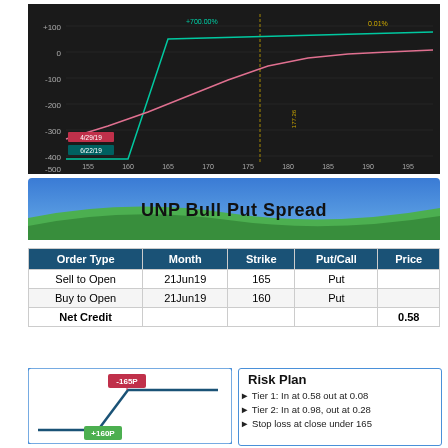[Figure (continuous-plot): Options P&L chart on dark background showing two lines (pink and teal) across strike prices 155-195. Y-axis from -500 to +100. Labels show 4/29/19 (pink) and 6/22/19 (teal). Vertical dashed line at ~177.26. Annotations: +700.00% and 0.01%.]
[Figure (illustration): Banner with blue gradient top and green swoosh at bottom, used as title background.]
UNP Bull Put Spread
| Order Type | Month | Strike | Put/Call | Price |
| --- | --- | --- | --- | --- |
| Sell to Open | 21Jun19 | 165 | Put |  |
| Buy to Open | 21Jun19 | 160 | Put |  |
| Net Credit |  |  |  | 0.58 |
[Figure (other): Partial options payoff diagram showing blue lines with -165P label in red box and +160P label in green box at bottom.]
Risk Plan
Tier 1: In at 0.58  out at 0.08
Tier 2: In at 0.98, out at 0.28
Stop loss at close under 165